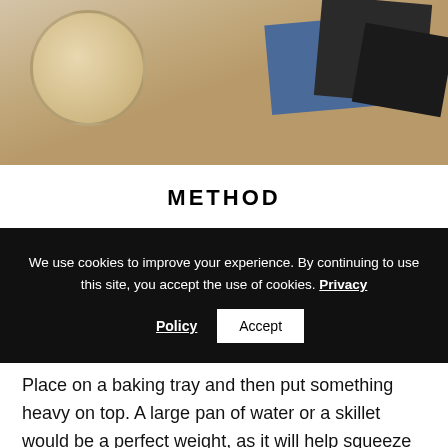[Figure (photo): Top-down photo showing a bowl with a light-colored mixture and a spoon, alongside blue and dark fabric swatches on a light speckled surface.]
METHOD
We use cookies to improve your experience. By continuing to use this site, you accept the use of cookies. Privacy Policy Accept
Place on a baking tray and then put something heavy on top. A large pan of water or a skillet would be a perfect weight, as it will help squeeze the tofu, helping it